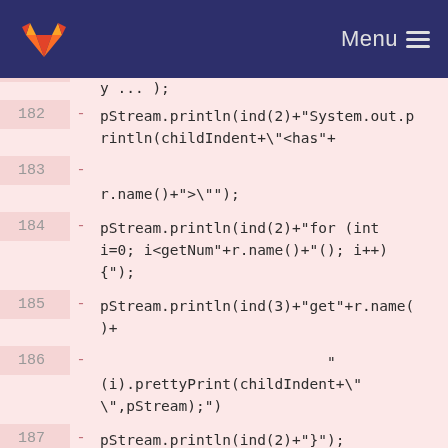Menu
182 - pStream.println(ind(2)+"System.out.println(childIndent+\"<has"+
183 - r.name()+">\";");
184 - pStream.println(ind(2)+"for (int i=0; i<getNum"+r.name()+"(); i++) {");
185 - pStream.println(ind(3)+"get"+r.name()+
186 - "(i).prettyPrint(childIndent+\"\",pStream);");
187 - pStream.println(ind(2)+"}");
188 -